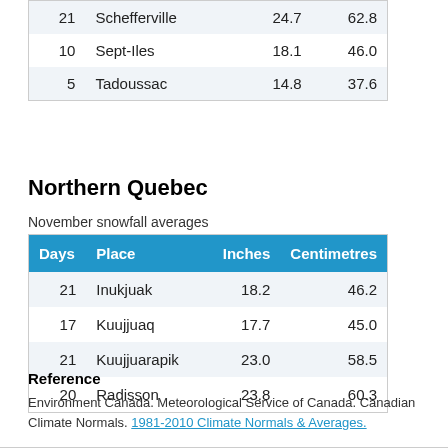| Days | Place | Inches | Centimetres |
| --- | --- | --- | --- |
| 21 | Schefferville | 24.7 | 62.8 |
| 10 | Sept-Iles | 18.1 | 46.0 |
| 5 | Tadoussac | 14.8 | 37.6 |
Northern Quebec
November snowfall averages
| Days | Place | Inches | Centimetres |
| --- | --- | --- | --- |
| 21 | Inukjuak | 18.2 | 46.2 |
| 17 | Kuujjuaq | 17.7 | 45.0 |
| 21 | Kuujjuarapik | 23.0 | 58.5 |
| 20 | Radisson | 23.8 | 60.3 |
Reference
Environment Canada. Meteorological Service of Canada. Canadian Climate Normals. 1981-2010 Climate Normals & Averages.